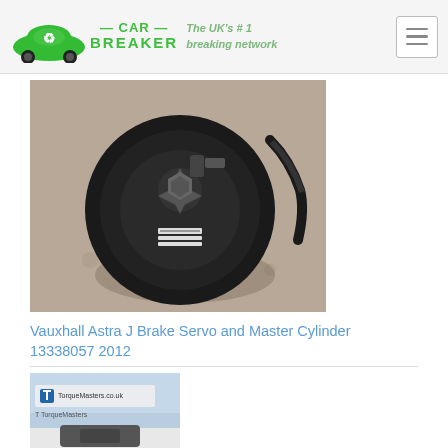CAR BREAKER — The UK's #1 breaking network
[Figure (photo): Vauxhall Astra J brake servo and master cylinder part, black circular component on concrete ground]
Vauxhall Astra J Brake Servo and Master Cylinder 13338057 2012
[Figure (photo): Partial view of another car part with TorqueMasters branding label visible]